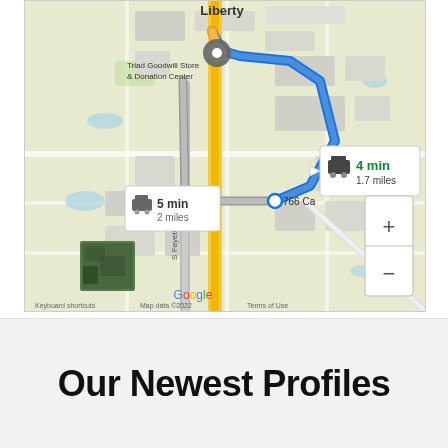[Figure (map): Google Maps screenshot showing driving directions with two route options: one highlighted in blue (4 min, 1.7 miles) and another in gray (5 min, 2 miles). Destination marker near Triad Goodwill Store & Donation Center on Liberty. Street label S Fayetteville St visible. Start point labeled 766 Ca... Zoom +/- controls visible. Satellite thumbnail in lower left. Google branding and 'Keyboard shortcuts  Map data ©2022  Terms of Use' footer.]
Our Newest Profiles